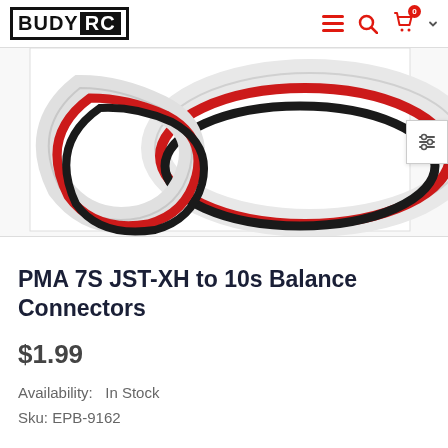BUDDY RC
[Figure (photo): Product photo showing coiled wires (white, red, black) for PMA 7S JST-XH to 10s Balance Connectors on a white background]
PMA 7S JST-XH to 10s Balance Connectors
$1.99
Availability:  In Stock
Sku: EPB-9162